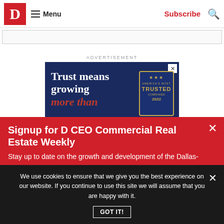D Magazine — Menu | Subscribe | Search
[Figure (screenshot): Search bar input area]
ADVERTISEMENT
[Figure (photo): Advertisement banner: 'Trust means growing more than' with Newsweek America's Most Trusted Companies 2022 badge on dark navy background]
Signup for D CEO Commercial Real Estate Weekly
Stay up to date on the growth and development of the Dallas-
We use cookies to ensure that we give you the best experience on our website. If you continue to use this site we will assume that you are happy with it.
GOT IT!